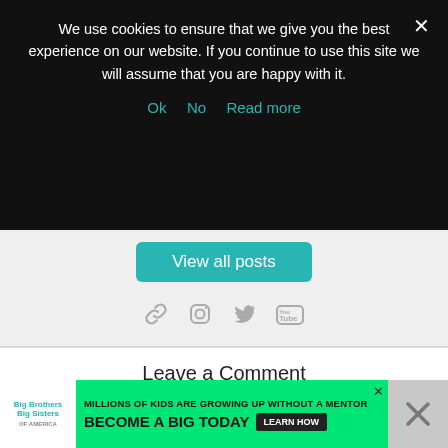We use cookies to ensure that we give you the best experience on our website. If you continue to use this site we will assume that you are happy with it.
Ok   No   Read more
View all posts
[Figure (infographic): Social media icons: link/chain icon, Instagram icon, Twitter icon, YouTube icon — all in grey]
Leave a Comment
Comment
[Figure (screenshot): Big Brothers Big Sisters of America advertisement banner: 'MILLIONS OF KIDS ARE GROWING UP WITHOUT A MENTOR. BECOME A BIG TODAY' with Learn How button]